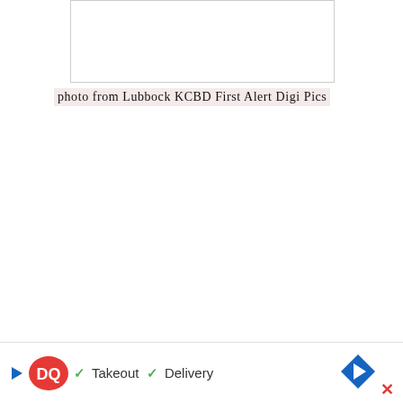[Figure (photo): Empty white rectangle representing a photo placeholder (photo box with border)]
photo from Lubbock KCBD First Alert Digi Pics
5. No cherry dilly bars at the Dairy Queen! They are, re, exe el,
[Figure (infographic): Dairy Queen advertisement bar at bottom: DQ logo, Takeout and Delivery checkmarks, navigation arrow icon, and X close button]